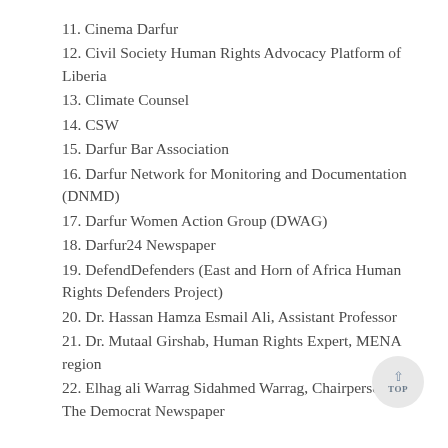11. Cinema Darfur
12. Civil Society Human Rights Advocacy Platform of Liberia
13. Climate Counsel
14. CSW
15. Darfur Bar Association
16. Darfur Network for Monitoring and Documentation (DNMD)
17. Darfur Women Action Group (DWAG)
18. Darfur24 Newspaper
19. DefendDefenders (East and Horn of Africa Human Rights Defenders Project)
20. Dr. Hassan Hamza Esmail Ali, Assistant Professor
21. Dr. Mutaal Girshab, Human Rights Expert, MENA region
22. Elhag ali Warrag Sidahmed Warrag, Chairperson, The Democrat Newspaper